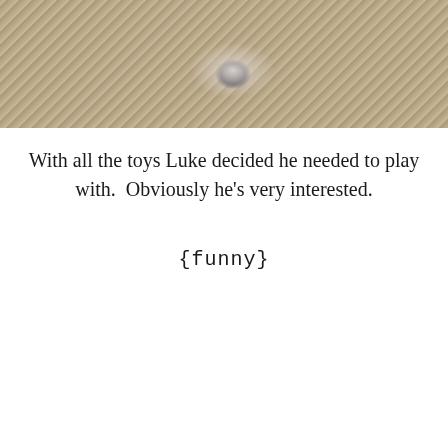[Figure (photo): A used diaper lying on a shaggy beige carpet, photographed from above.]
With all the toys Luke decided he needed to play with.  Obviously he's very interested.
{funny}
[Figure (photo): A baby sitting on a light-colored floor, wearing a grey knit bib/collar and a white outfit, looking at the camera. Dried leaves are scattered on the floor. A menu hamburger button is visible in the bottom right corner. Watermark reads '© betterthaneden.com'.]